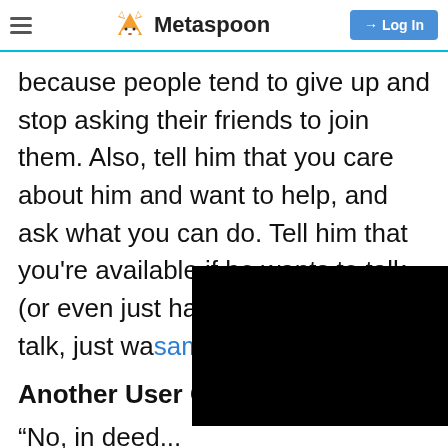Metaspoon
because people tend to give up and stop asking their friends to join them. Also, tell him that you care about him and want to help, and ask what you can do. Tell him that you’re available if he wants to talk (or even just hang outⓧ and not talk, just wa[tch something)." samaca[...]
Another User Comments.
“No, in deed...